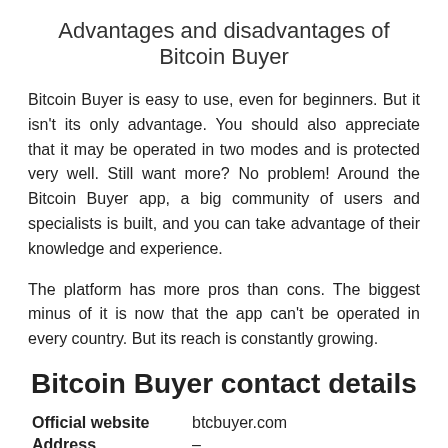Advantages and disadvantages of Bitcoin Buyer
Bitcoin Buyer is easy to use, even for beginners. But it isn't its only advantage. You should also appreciate that it may be operated in two modes and is protected very well. Still want more? No problem! Around the Bitcoin Buyer app, a big community of users and specialists is built, and you can take advantage of their knowledge and experience.
The platform has more pros than cons. The biggest minus of it is now that the app can't be operated in every country. But its reach is constantly growing.
Bitcoin Buyer contact details
Official website   btcbuyer.com
Address   –